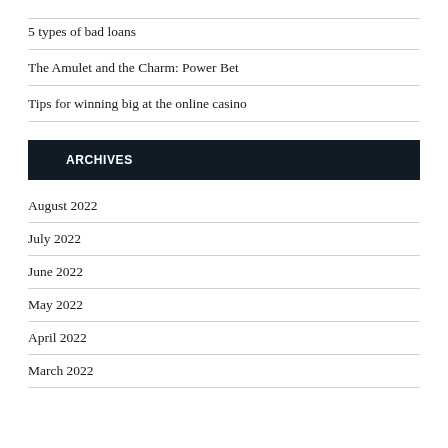5 types of bad loans
The Amulet and the Charm: Power Bet
Tips for winning big at the online casino
ARCHIVES
August 2022
July 2022
June 2022
May 2022
April 2022
March 2022